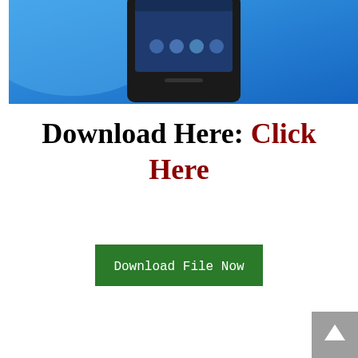[Figure (screenshot): Smartphone device on a blue gradient background, showing the top portion of the phone with a dark screen displaying app icons.]
Download Here: Click Here
[Figure (other): Green button with white text reading 'Download File Now']
[Figure (other): Grey square button with a white upward arrow icon in the bottom-right corner]